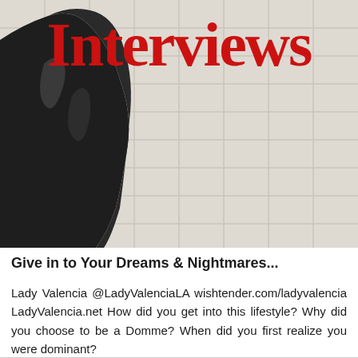[Figure (photo): Photograph showing a person in dark shiny latex/leather outfit against a white tiled wall background, with the word 'Interviews' overlaid in large red serif text at the top]
Give in to Your Dreams & Nightmares...
Lady Valencia @LadyValenciaLA wishtender.com/ladyvalencia LadyValencia.net How did you get into this lifestyle? Why did you choose to be a Domme? When did you first realize you were dominant?